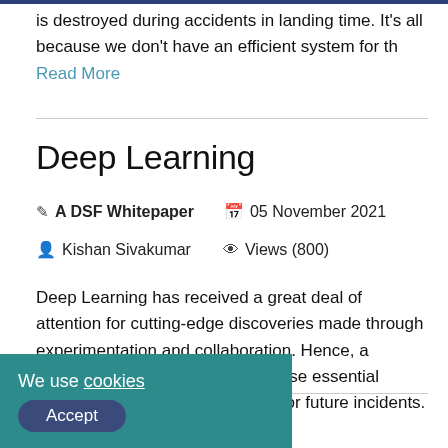is destroyed during accidents in landing time. It's all because we don't have an efficient system for th Read More
Deep Learning
✎ A DSF Whitepaper   📅 05 November 2021
👤 Kishan Sivakumar   👁 Views (800)
Deep Learning has received a great deal of attention for cutting-edge discoveries made through experimentation and collaboration. Hence, a fundamental understanding of these essential features is key to being outfitted for future incidents. Read More
...earning